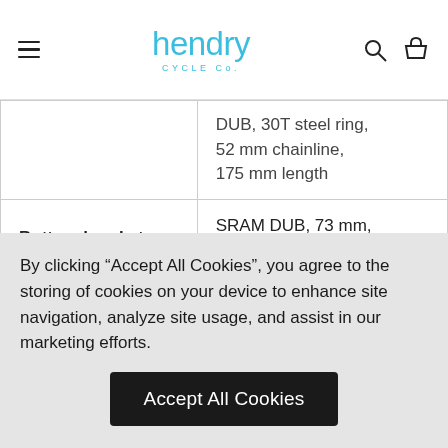hendry CYCLE Co.
| Component | Specification |
| --- | --- |
|  | DUB, 30T steel ring, 52 mm chainline, 175 mm length |
| Bottom bracket | SRAM DUB, 73 mm, BSA threaded |
| Cassette | SRAM PG-1230 |
By clicking “Accept All Cookies”, you agree to the storing of cookies on your device to enhance site navigation, analyze site usage, and assist in our marketing efforts.
Accept All Cookies